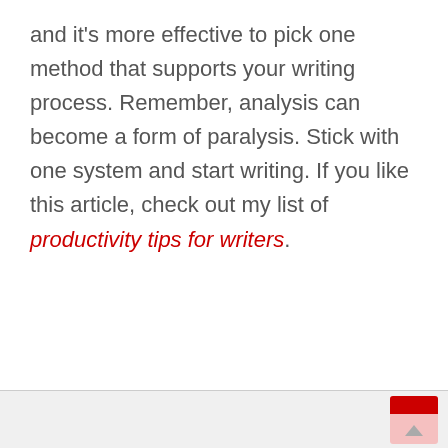and it's more effective to pick one method that supports your writing process. Remember, analysis can become a form of paralysis. Stick with one system and start writing. If you like this article, check out my list of productivity tips for writers.